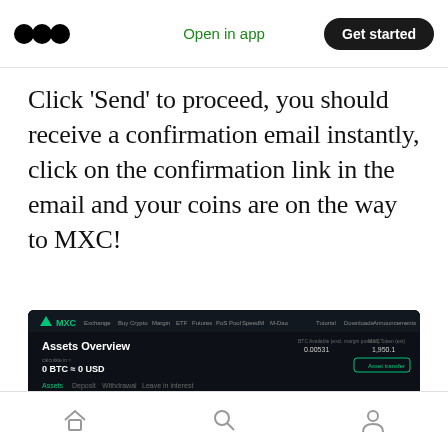Open in app | Get started
Click ‘Send’ to proceed, you should receive a confirmation email instantly, click on the confirmation link in the email and your coins are on the way to MXC!
[Figure (screenshot): MXC exchange platform screenshot showing Assets Overview page with 0 BTC = 0 USD balance, MX Token details with values 1,000,000,000 total supply, 180,091,902.2091 circulating supply, -5000190.41 amount. Bottom section shows trading fee info with Use MX to deduct trading fee with up to 20% discount toggle, and 'Looking forward to the direct trading for later? Coming soon' text.]
Home | Search | Profile